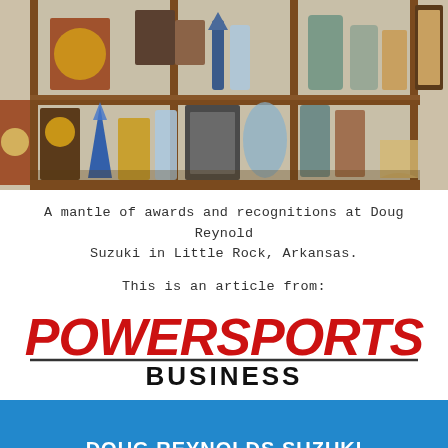[Figure (photo): A shelf/mantle displaying multiple awards, trophies, plaques, and recognitions at Doug Reynold Suzuki dealership in Little Rock, Arkansas. Various crystal, wood, and metal awards are displayed on wooden shelves.]
A mantle of awards and recognitions at Doug Reynold Suzuki in Little Rock, Arkansas.
This is an article from:
[Figure (logo): PowerSports Business magazine logo — 'POWERSPORTS' in large red italic bold text with 'BUSINESS' in large black bold text below, separated by a horizontal line.]
DOUG REYNOLDS SUZUKI OF LITTLE ROCK
9800 I-30